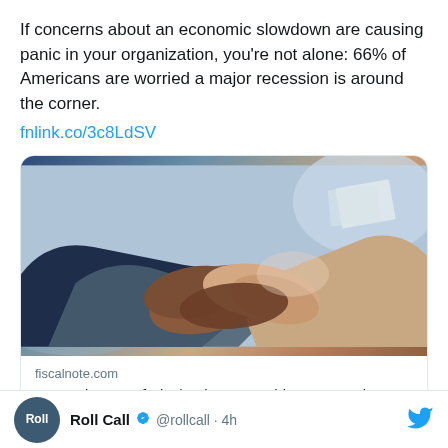If concerns about an economic slowdown are causing panic in your organization, you're not alone: 66% of Americans are worried a major recession is around the corner.
fnlink.co/3c8LdSV
[Figure (photo): Close-up photo of multiple hands gripping each other's wrists in a group handshake or team unity gesture]
fiscalnote.com
Recession-Proof Playbook: Your Guide to Protecting Your Job &...
2  1 (reply and like counts)
Roll Call @rollcall · 4h